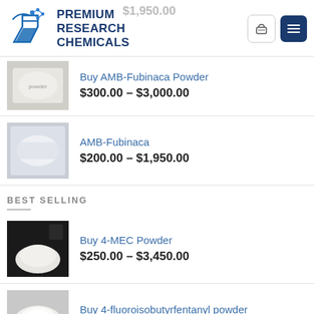[Figure (logo): Premium Research Chemicals logo with flask/molecular icon in blue]
Buy AMB-Fubinaca Powder
$300.00 – $3,000.00
AMB-Fubinaca
$200.00 – $1,950.00
BEST SELLING
Buy 4-MEC Powder
$250.00 – $3,450.00
Buy 4-fluoroisobutyrfentanyl powder
$500.00 – $5,200.00